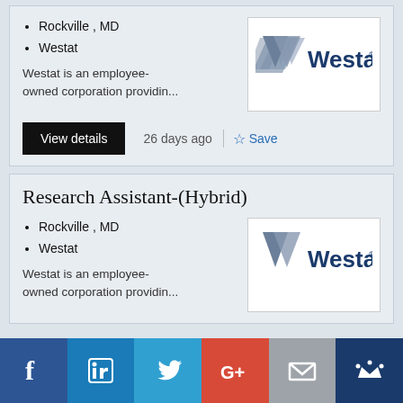Rockville , MD
Westat
Westat is an employee-owned corporation providin...
[Figure (logo): Westat logo - triangular chevron shape with text Westat]
26 days ago
Save
Research Assistant-(Hybrid)
Rockville , MD
Westat
Westat is an employee-owned corporation providin...
[Figure (logo): Westat logo - triangular chevron shape with text Westat]
[Figure (infographic): Social media sharing bar with Facebook, LinkedIn, Twitter, Google+, Email, and Crown icons]